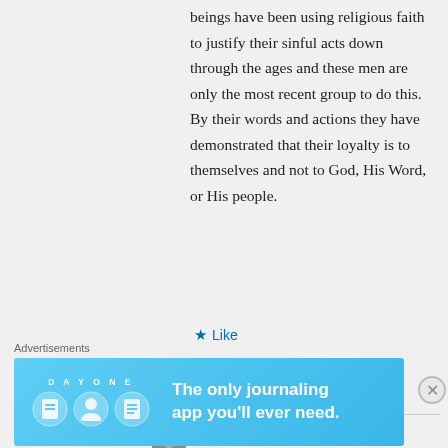beings have been using religious faith to justify their sinful acts down through the ages and these men are only the most recent group to do this. By their words and actions they have demonstrated that their loyalty is to themselves and not to God, His Word, or His people.
★ Like
↳ Reply
natesparks130 on April 29, 2017 at 14:33
Advertisements
[Figure (infographic): Day One journaling app advertisement banner with blue background, app logo icons, and text 'The only journaling app you'll ever need.']